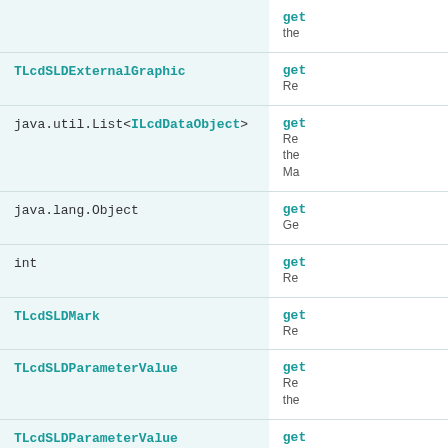| Type | Method/Description |
| --- | --- |
| (partial - top of page) | ge... / the |
| TLcdSLDExternalGraphic | ge... / Re |
| java.util.List<ILcdDataObject> | ge... / Re the Ma |
| java.lang.Object | ge... / Ge |
| int | ge... / Re |
| TLcdSLDMark | ge... / Re |
| TLcdSLDParameterValue | ge... / Re the |
| TLcdSLDParameterValue | ge... / Re |